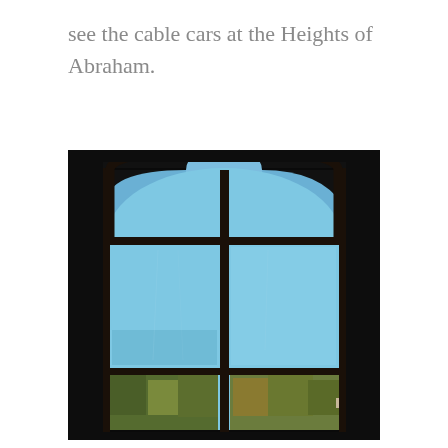see the cable cars at the Heights of Abraham.
[Figure (photo): A dark interior photograph looking through a tall arched window with multiple panes divided by dark wooden/stone mullions. Through the window panes, a bright blue sky is visible in the upper portion, and autumn-colored trees on a hillside are visible in the lower panes. The arched top of the window has three panes, the middle section has two large rectangular panes, and the bottom has two smaller rectangular panes.]